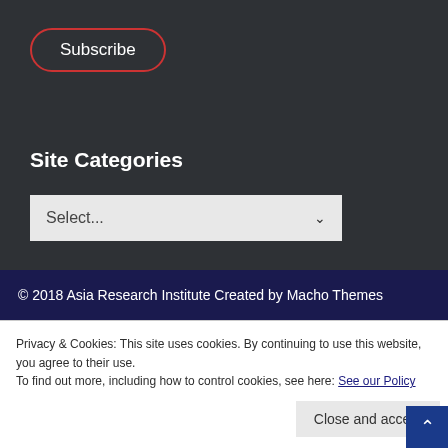[Figure (screenshot): Subscribe button with red rounded border on dark background]
Site Categories
[Figure (screenshot): Select dropdown box with placeholder text Select...]
© 2018 Asia Research Institute Created by Macho Themes
Privacy & Cookies: This site uses cookies. By continuing to use this website, you agree to their use.
To find out more, including how to control cookies, see here: See our Policy
Close and accept